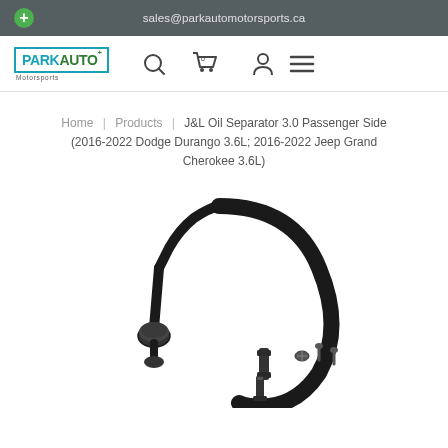sales@parkautomotorsports.ca
[Figure (logo): Park Auto Motorsports logo with teal and green text and icon]
Home | Products | J&L Oil Separator 3.0 Passenger Side (2016-2022 Dodge Durango 3.6L; 2016-2022 Jeep Grand Cherokee 3.6L)
[Figure (photo): J&L Oil Separator 3.0 Passenger Side product photo showing a curved black hose assembly with mounting bracket and hardware components]